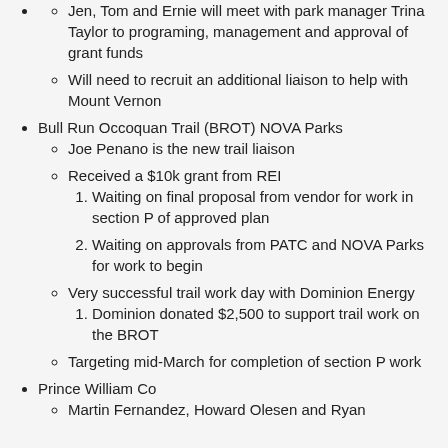Jen, Tom and Ernie will meet with park manager Trina Taylor to programing, management and approval of grant funds
Will need to recruit an additional liaison to help with Mount Vernon
Bull Run Occoquan Trail (BROT) NOVA Parks
Joe Penano is the new trail liaison
Received a $10k grant from REI
Waiting on final proposal from vendor for work in section P of approved plan
Waiting on approvals from PATC and NOVA Parks for work to begin
Very successful trail work day with Dominion Energy
Dominion donated $2,500 to support trail work on the BROT
Targeting mid-March for completion of section P work
Prince William Co
Martin Fernandez, Howard Olesen and Ryan